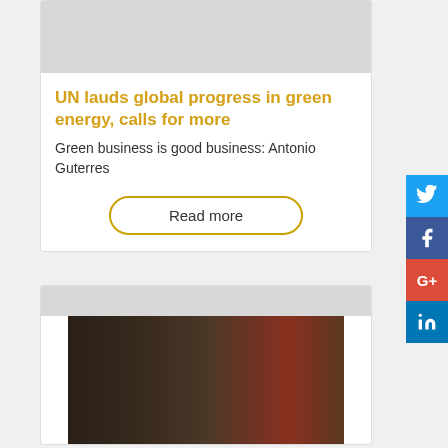[Figure (photo): Gray placeholder image at top of card 1]
UN lauds global progress in green energy, calls for more
Green business is good business: Antonio Guterres
Read more
[Figure (photo): Photo of a man in a suit speaking, with a dark background and red element on the right]